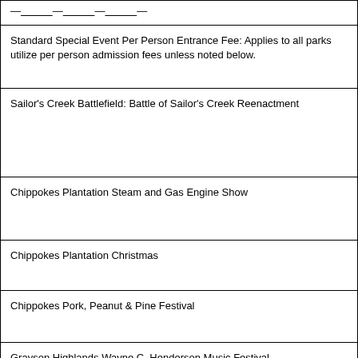| —...—...—...— |
| Standard Special Event Per Person Entrance Fee: Applies to all parks utilize per person admission fees unless noted below. |
| Sailor's Creek Battlefield: Battle of Sailor's Creek Reenactment |
| Chippokes Plantation Steam and Gas Engine Show |
| Chippokes Plantation Christmas |
| Chippokes Pork, Peanut & Pine Festival |
| Grayson Highlands Wayne C. Henderson Music Festival |